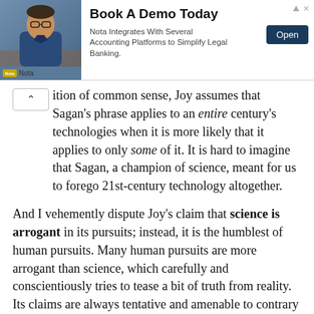[Figure (screenshot): Advertisement banner for Nota. Shows a photo of a man in glasses sitting at a desk. Text reads 'Book A Demo Today' with subtitle 'Nota Integrates With Several Accounting Platforms to Simplify Legal Banking.' and an 'Open' button. Nota logo and name at bottom left.]
ition of common sense, Joy assumes that Sagan's phrase applies to an entire century's technologies when it is more likely that it applies to only some of it. It is hard to imagine that Sagan, a champion of science, meant for us to forego 21st-century technology altogether.
And I vehemently dispute Joy's claim that science is arrogant in its pursuits; instead, it is the humblest of human pursuits. Many human pursuits are more arrogant than science, which carefully and conscientiously tries to tease a bit of truth from reality. Its claims are always tentative and amenable to contrary evidence—much more than can be said for most creeds. And what of the charlatans, psychics, cultists, astrologers, and faith-healers? Not to mention the somewhat more respectable